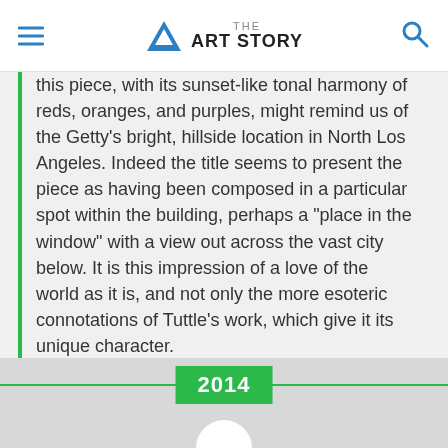THE ART STORY
this piece, with its sunset-like tonal harmony of reds, oranges, and purples, might remind us of the Getty's bright, hillside location in North Los Angeles. Indeed the title seems to present the piece as having been composed in a particular spot within the building, perhaps a "place in the window" with a view out across the vast city below. It is this impression of a love of the world as it is, and not only the more esoteric connotations of Tuttle's work, which give it its unique character.
Colored cotton fiber and wire mesh - Getty Research Center, Los Angeles
2014